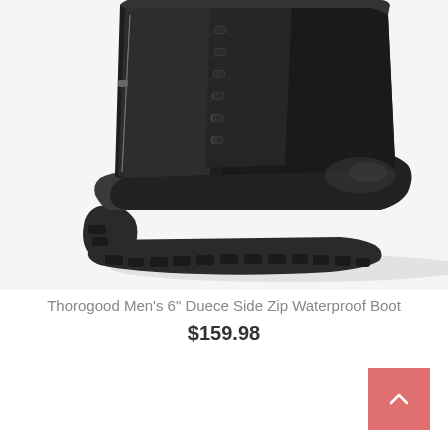[Figure (photo): Black Thorogood tactical boot with side zip, lace-up front, and heavy rubber lug sole, photographed on white background]
Thorogood Men's 6" Duece Side Zip Waterproof Boot
$159.98